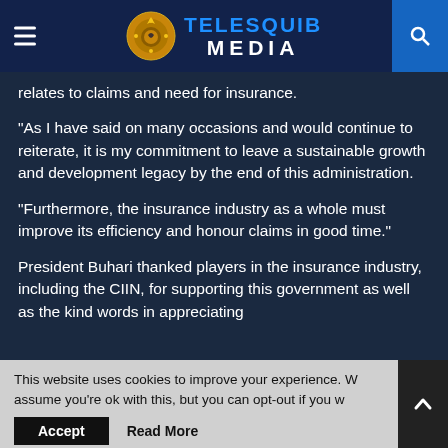TELESQUIB MEDIA
relates to claims and need for insurance.
“As I have said on many occasions and would continue to reiterate, it is my commitment to leave a sustainable growth and development legacy by the end of this administration.
“Furthermore, the insurance industry as a whole must improve its efficiency and honour claims in good time.”
President Buhari thanked players in the insurance industry, including the CIIN, for supporting this government as well as the kind words in appreciating
This website uses cookies to improve your experience. W assume you’re ok with this, but you can opt-out if you w